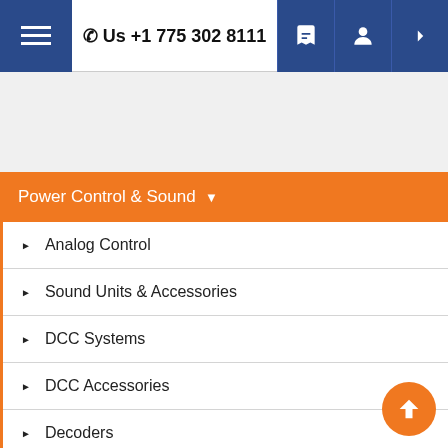☎ Us +1 775 302 8111
Power Control & Sound
Analog Control
Sound Units & Accessories
DCC Systems
DCC Accessories
Decoders
ZIMO Sound & DCC